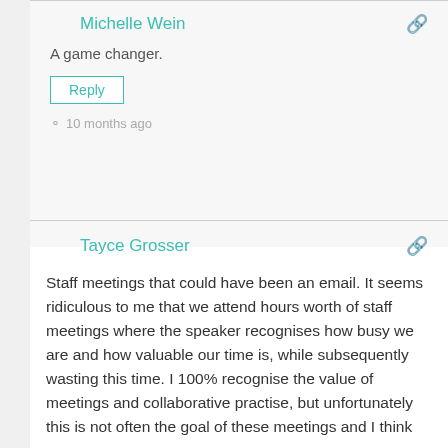Michelle Wein
A game changer.
Reply
10 months ago
Tayce Grosser
Staff meetings that could have been an email. It seems ridiculous to me that we attend hours worth of staff meetings where the speaker recognises how busy we are and how valuable our time is, while subsequently wasting this time. I 100% recognise the value of meetings and collaborative practise, but unfortunately this is not often the goal of these meetings and I think